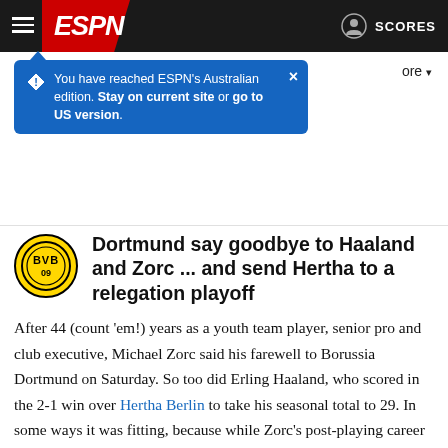ESPN navigation bar with hamburger menu, ESPN logo, and SCORES link
You have reached ESPN's Australian edition. Stay on current site or go to US version.
Dortmund say goodbye to Haaland and Zorc ... and send Hertha to a relegation playoff
After 44 (count 'em!) years as a youth team player, senior pro and club executive, Michael Zorc said his farewell to Borussia Dortmund on Saturday. So too did Erling Haaland, who scored in the 2-1 win over Hertha Berlin to take his seasonal total to 29. In some ways it was fitting, because while Zorc's post-playing career saw him endure the lows of near insolvency and midtable, he also became a symbol of what Dortmund have become in recent years: a side looking to vacuum up young